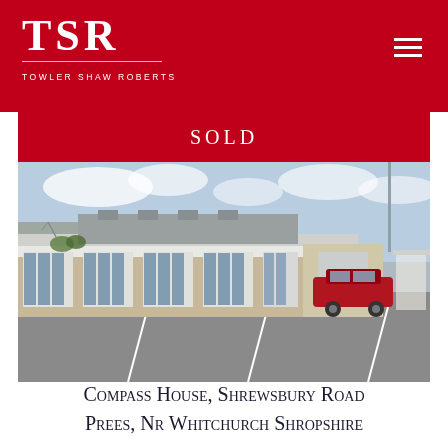TSR TOWLER SHAW ROBERTS
SOLD
[Figure (photo): Exterior photograph of Compass House, a single-storey commercial building with brick facade, white fascia panels, blue strip curtains on multiple bays, and a car park in the foreground with a red SUV parked to the right side.]
Compass House, Shrewsbury Road Prees, Nr Whitchurch Shropshire